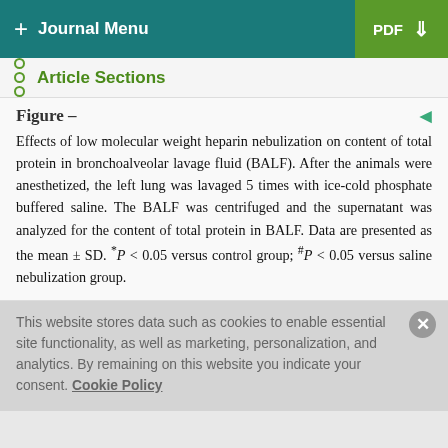+ Journal Menu | PDF
Article Sections
Effects of low molecular weight heparin nebulization on content of total protein in bronchoalveolar lavage fluid (BALF). After the animals were anesthetized, the left lung was lavaged 5 times with ice-cold phosphate buffered saline. The BALF was centrifuged and the supernatant was analyzed for the content of total protein in BALF. Data are presented as the mean ± SD. *P < 0.05 versus control group; #P < 0.05 versus saline nebulization group.
This website stores data such as cookies to enable essential site functionality, as well as marketing, personalization, and analytics. By remaining on this website you indicate your consent. Cookie Policy